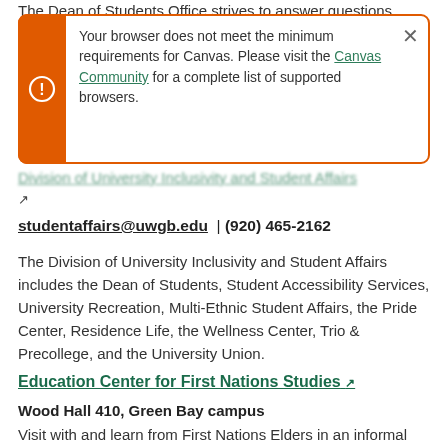The Dean of Students Office strives to answer questions,
[Figure (screenshot): Browser compatibility warning box with orange left bar containing exclamation icon. Text reads: 'Your browser does not meet the minimum requirements for Canvas. Please visit the Canvas Community for a complete list of supported browsers.' with an X close button.]
[blurred link text]
↗
studentaffairs@uwgb.edu  | (920) 465-2162
The Division of University Inclusivity and Student Affairs includes the Dean of Students, Student Accessibility Services, University Recreation, Multi-Ethnic Student Affairs, the Pride Center, Residence Life, the Wellness Center, Trio & Precollege, and the University Union.
Education Center for First Nations Studies ↗
Wood Hall 410, Green Bay campus
Visit with and learn from First Nations Elders in an informal setting. Drop by Wood Hall 410 for more information.